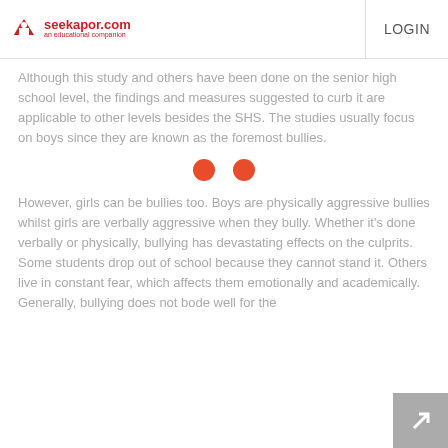seekapor.com an educational companion | LOGIN
Although this study and others have been done on the senior high school level, the findings and measures suggested to curb it are applicable to other levels besides the SHS. The studies usually focus on boys since they are known as the foremost bullies.
However, girls can be bullies too. Boys are physically aggressive bullies whilst girls are verbally aggressive when they bully. Whether it's done verbally or physically, bullying has devastating effects on the culprits. Some students drop out of school because they cannot stand it. Others live in constant fear, which affects them emotionally and academically. Generally, bullying does not bode well for the